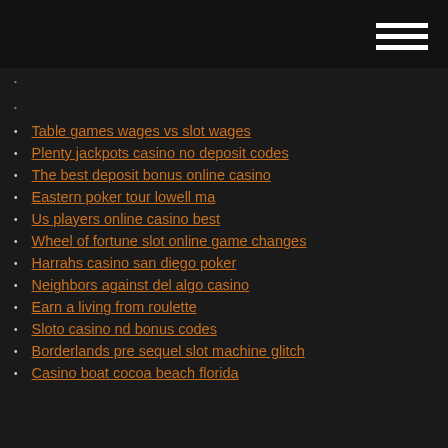Table games wages vs slot wages
Plenty jackpots casino no deposit codes
The best deposit bonus online casino
Eastern poker tour lowell ma
Us players online casino best
Wheel of fortune slot online game changes
Harrahs casino san diego poker
Neighbors against del algo casino
Earn a living from roulette
Sloto casino nd bonus codes
Borderlands pre sequel slot machine glitch
Casino boat cocoa beach florida